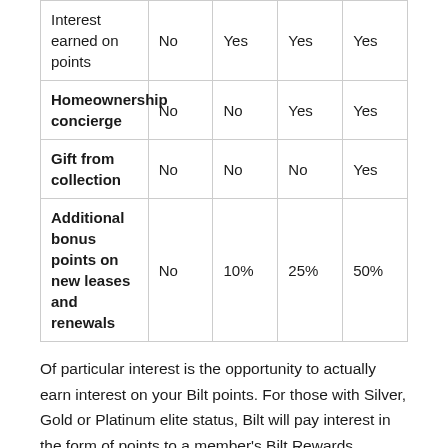| Interest earned on points | No | Yes | Yes | Yes |
| Homeownership concierge | No | No | Yes | Yes |
| Gift from collection | No | No | No | Yes |
| Additional bonus points on new leases and renewals | No | 10% | 25% | 50% |
Of particular interest is the opportunity to actually earn interest on your Bilt points. For those with Silver, Gold or Platinum elite status, Bilt will pay interest in the form of points to a member's Bilt Rewards account every month, based on their average daily points balance for each 30-day period and using the National Deposit Rate for savings published by the